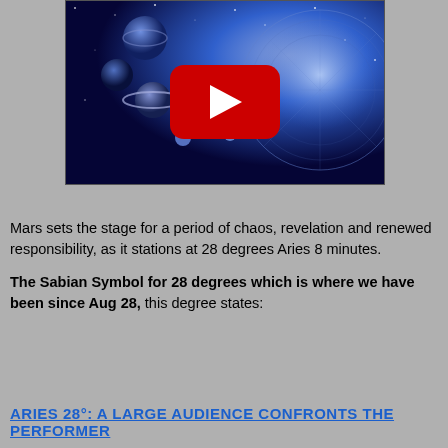[Figure (screenshot): A YouTube video thumbnail showing planets of the solar system and an astrological/zodiac wheel against a blue starry background, with a red YouTube play button in the center.]
Mars sets the stage for a period of chaos, revelation and renewed responsibility, as it stations at 28 degrees Aries 8 minutes.
The Sabian Symbol for 28 degrees which is where we have been since Aug 28, this degree states:
ARIES 28°: A LARGE AUDIENCE CONFRONTS THE PERFORMER